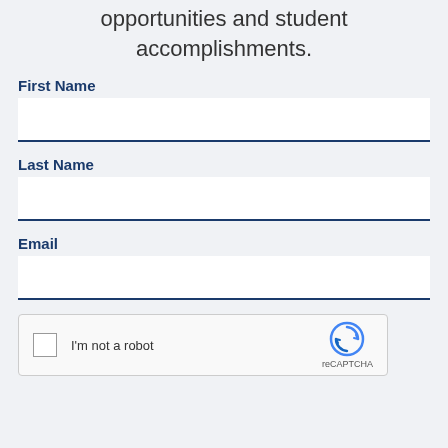opportunities and student accomplishments.
First Name
Last Name
Email
[Figure (other): reCAPTCHA widget with checkbox labeled 'I'm not a robot' and reCAPTCHA logo]